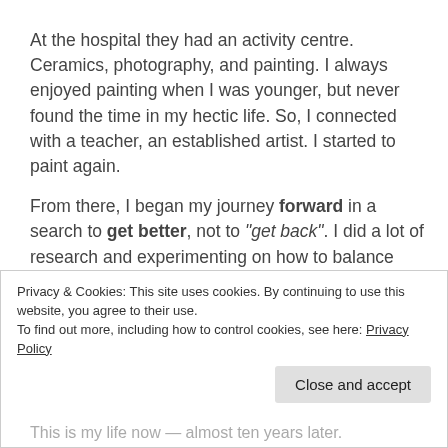At the hospital they had an activity centre. Ceramics, photography, and painting. I always enjoyed painting when I was younger, but never found the time in my hectic life. So, I connected with a teacher, an established artist. I started to paint again.
From there, I began my journey forward in a search to get better, not to "get back". I did a lot of research and experimenting on how to balance activities to get the most out of my energy level. Time and a better lifestyle healed me over time. Enough sleep, eating really well and a routine of yoga and a walk outside every day are
Privacy & Cookies: This site uses cookies. By continuing to use this website, you agree to their use.
To find out more, including how to control cookies, see here: Privacy Policy
This is my life now — almost ten years later.